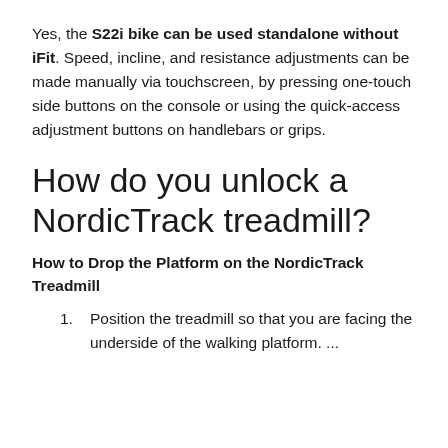Yes, the S22i bike can be used standalone without iFit. Speed, incline, and resistance adjustments can be made manually via touchscreen, by pressing one-touch side buttons on the console or using the quick-access adjustment buttons on handlebars or grips.
How do you unlock a NordicTrack treadmill?
How to Drop the Platform on the NordicTrack Treadmill
Position the treadmill so that you are facing the underside of the walking platform. ...